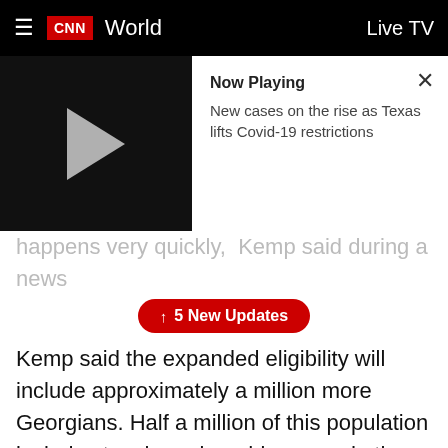CNN World | Live TV
[Figure (screenshot): Video thumbnail with play button showing 'Now Playing: New cases on the rise as Texas lifts Covid-19 restrictions']
happens very quickly, Kemp said during a news conference in Atlanta on Wednesday.
↑ 5 New Updates
Kemp said the expanded eligibility will include approximately a million more Georgians. Half a million of this population includes teachers, bus drivers, and other school staff.
The state is also opening five additional mass vaccination sites. With four sites already in operation, the state expects to increase its weekly capacity to 45,000 doses at all locations.
"We've now given at least one dose to over 860,000